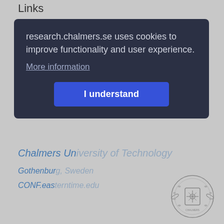Links
[Figure (screenshot): Cookie consent overlay on research.chalmers.se website. Dark navy rounded box containing text: 'research.chalmers.se uses cookies to improve functionality and user experience.' with a 'More information' underlined link and a blue 'I understand' button. Behind the overlay, blurred Chalmers University of Technology links are partially visible. Below: WWW.CHALMERS.SE link. Bottom right: Chalmers university crest/logo in grey.]